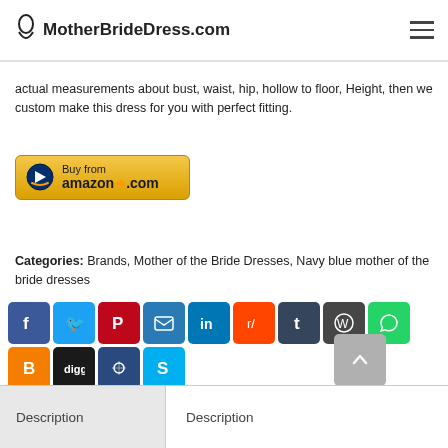MotherBrideDress.com
actual measurements about bust, waist, hip, hollow to floor, Height, then we custom make this dress for you with perfect fitting.
[Figure (other): Buy from amazon.com button]
Categories: Brands, Mother of the Bride Dresses, Navy blue mother of the bride dresses
[Figure (infographic): Social sharing icons: Facebook, Twitter, Pinterest, Email, LinkedIn, Reddit, Tumblr, WordPress, WhatsApp, Blogger, Digg, Sumo, Skype]
Description
Description